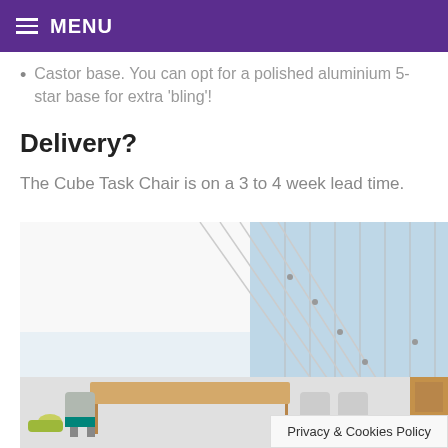MENU
Castor base. You can opt for a polished aluminium 5-star base for extra 'bling'!
Delivery?
The Cube Task Chair is on a 3 to 4 week lead time.
[Figure (photo): Office interior with chairs around a light wood table, large glass windows with hanging cable fixtures, modern workspace setting.]
Privacy & Cookies Policy